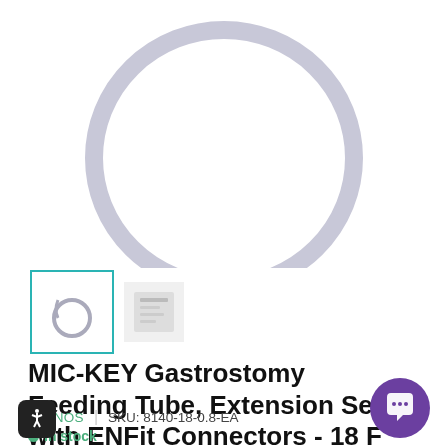[Figure (photo): Main product image showing a clear looped feeding tube on white background — top portion of circle visible]
[Figure (photo): Thumbnail 1: selected — small image of looped feeding tube with teal border]
[Figure (photo): Thumbnail 2: small image of product packaging/accessory, greyed out]
MIC-KEY Gastrostomy Feeding Tube, Extension Sets with ENFit Connectors - 18 F
AVANOS | SKU: 8140-18-0.8-EA
In stock